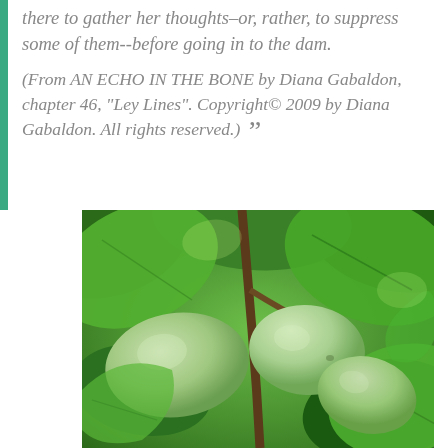there to gather her thoughts–or, rather, to suppress some of them--before going in to the dam.
(From AN ECHO IN THE BONE by Diana Gabaldon, chapter 46, "Ley Lines". Copyright© 2009 by Diana Gabaldon. All rights reserved.)
[Figure (photo): Close-up photograph of green pawpaw fruits hanging from a tree branch surrounded by large green leaves.]